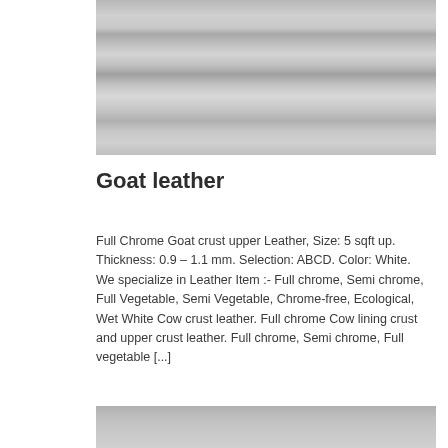[Figure (photo): Close-up photograph of white/grey goat leather sheets stacked horizontally, showing texture and folds.]
Goat leather
Full Chrome Goat crust upper Leather, Size: 5 sqft up. Thickness: 0.9 – 1.1 mm. Selection: ABCD. Color: White. We specialize in Leather Item :- Full chrome, Semi chrome, Full Vegetable, Semi Vegetable, Chrome-free, Ecological, Wet White Cow crust leather. Full chrome Cow lining crust and upper crust leather. Full chrome, Semi chrome, Full vegetable [...]
[Figure (photo): Partial view of another leather product photograph at the bottom of the page.]